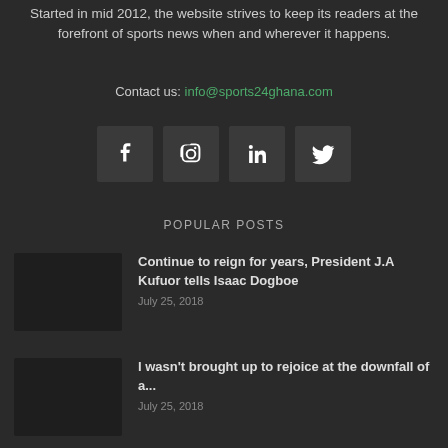Started in mid 2012, the website strives to keep its readers at the forefront of sports news when and wherever it happens.
Contact us: info@sports24ghana.com
[Figure (infographic): Four social media icon buttons: Facebook (f), Instagram, LinkedIn (in), Twitter (bird icon) — dark square backgrounds with white icons]
POPULAR POSTS
Continue to reign for years, President J.A Kufuor tells Isaac Dogboe
July 25, 2018
I wasn't brought up to rejoice at the downfall of a...
July 25, 2018